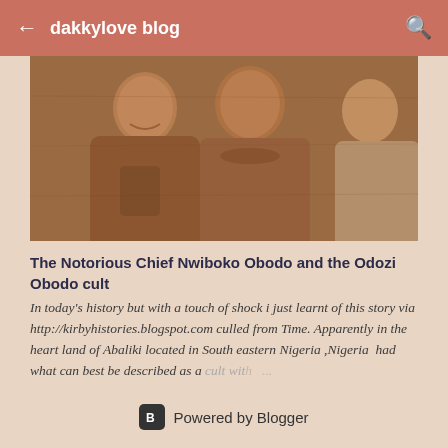dakkylove blog
[Figure (photo): Sepia-toned vintage photograph of three people seated together, two men visible in the foreground.]
The Notorious Chief Nwiboko Obodo and the Odozi Obodo cult
In today's history but with a touch of shock i just learnt of this story via http://kirbyhistories.blogspot.com culled from Time. Apparently in the heart land of Abaliki located in South eastern Nigeria ,Nigeria  had what can best be described as a cult with ...
Powered by Blogger